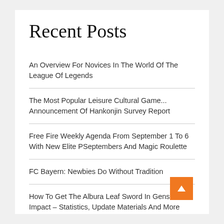Recent Posts
An Overview For Novices In The World Of The League Of Legends
The Most Popular Leisure Cultural Game... Announcement Of Hankonjin Survey Report
Free Fire Weekly Agenda From September 1 To 6 With New Elite PSeptembers And Magic Roulette
FC Bayern: Newbies Do Without Tradition
How To Get The Albura Leaf Sword In Genshin Impact – Statistics, Update Materials And More